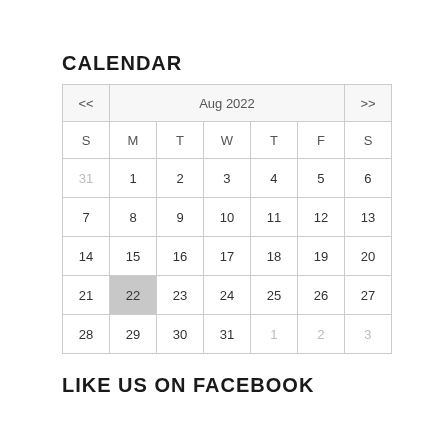CALENDAR
| << | Aug 2022 | >> |
| --- | --- | --- |
| S | M | T | W | T | F | S |
| 31 | 1 | 2 | 3 | 4 | 5 | 6 |
| 7 | 8 | 9 | 10 | 11 | 12 | 13 |
| 14 | 15 | 16 | 17 | 18 | 19 | 20 |
| 21 | 22 | 23 | 24 | 25 | 26 | 27 |
| 28 | 29 | 30 | 31 | 1 | 2 | 3 |
LIKE US ON FACEBOOK